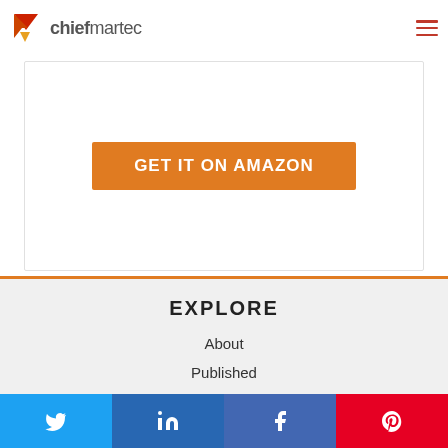chiefmartec
[Figure (other): GET IT ON AMAZON button (orange)]
EXPLORE
About
Published
Speaking
Social share buttons: Twitter, LinkedIn, Facebook, Pinterest